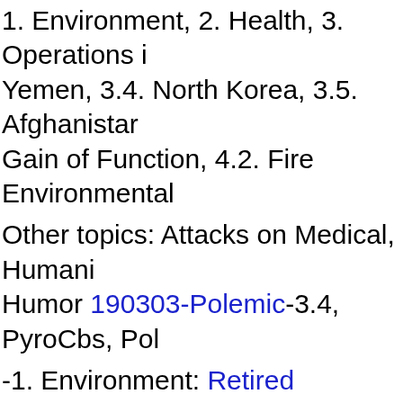1. Environment, 2. Health, 3. Operations in Yemen, 3.4. North Korea, 3.5. Afghanistan, Gain of Function, 4.2. Fire Environmental
Other topics: Attacks on Medical, Humanitarian Humor 190303-Polemic-3.4, PyroCbs, Pol
-1. Environment: Retired General, Climate Polemic-1. How Climate Change Is Affecting and Melts, Climate Change on Radar, Military Climate Change. Climate Change Threat 180617-4‡.
-2. Health: Actions Needed to Determine Medical and Dental Forces. A New Layer